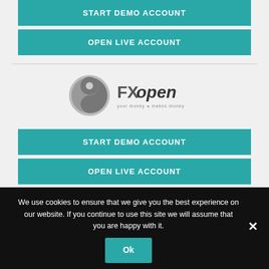START DEMO ACCOUNT
OPEN LIVE ACCOUNT
[Figure (logo): FXopen logo with circular emblem and text 'FXopen your money makes money']
START DEMO ACCOUNT
OPEN LIVE ACCOUNT
We use cookies to ensure that we give you the best experience on our website. If you continue to use this site we will assume that you are happy with it.
Ok